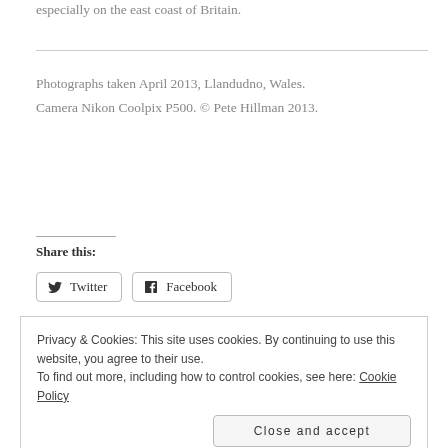especially on the east coast of Britain.
Photographs taken April 2013, Llandudno, Wales.
Camera Nikon Coolpix P500. © Pete Hillman 2013.
Share this:
Twitter  Facebook
Privacy & Cookies: This site uses cookies. By continuing to use this website, you agree to their use.
To find out more, including how to control cookies, see here: Cookie Policy
Close and accept